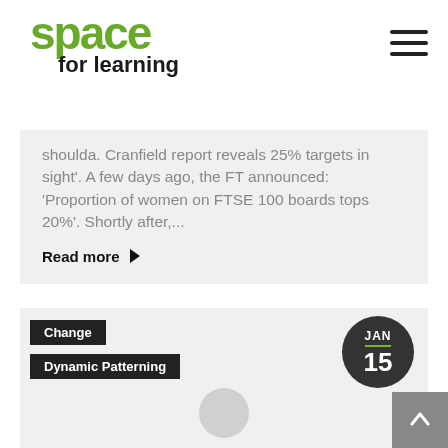space for learning
shoulda. Cranfield report reveals 25% targets in sight'. A few days ago, the FT announced: 'Proportion of women on FTSE 100 boards tops 20%'. Shortly after,...
Read more
Change
Dynamic Patterning
JAN 15